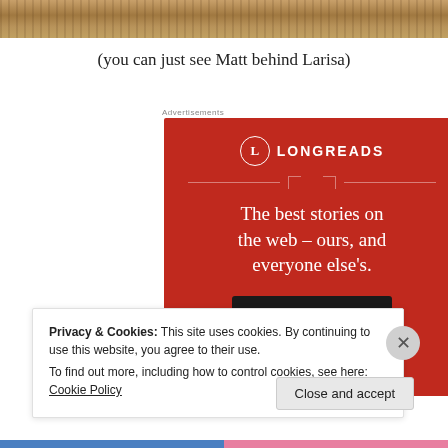[Figure (photo): Top strip showing a soil/dirt outdoor scene, partially cropped]
(you can just see Matt behind Larisa)
[Figure (infographic): Longreads advertisement banner on red background with logo, tagline 'The best stories on the web – ours, and everyone else's.' and a 'Start reading' button]
Privacy & Cookies: This site uses cookies. By continuing to use this website, you agree to their use.
To find out more, including how to control cookies, see here: Cookie Policy
Close and accept